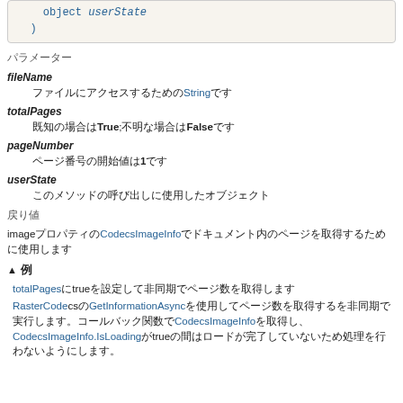object userState
)
パラメーター
fileName
　　ファイルにアクセスするためのStringです
totalPages
　　既知の場合はTrue;不明な場合はFalseです
pageNumber
　　ページ番号の開始値は1です
userState
　　このメソッドの呼び出しに使用したオブジェクト
戻り値
imageプロパティのCodecsImageInfoでドキュメント内のページを取得するために使用します
▲ 例
totalPagesにtrueを設定して非同期でページ数を取得します
RasterCodecsのGetInformationAsyncを使用してページ数を取得するを非同期で実行します。コールバック関数でCodecsImageInfoを取得し、CodecsImageInfo.IsLoadingがtrueの間はロードが完了していないため処理を行わないようにします。